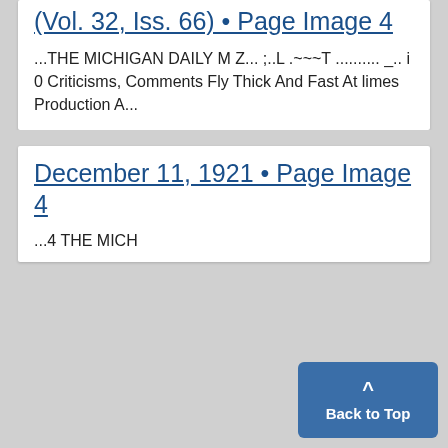(Vol. 32, Iss. 66) • Page Image 4
...THE MICHIGAN DAILY M Z... ;..L .~~~T .......... _.. i 0 Criticisms, Comments Fly Thick And Fast At limes Production A...
December 11, 1921 • Page Image 4
...4 THE MICH...